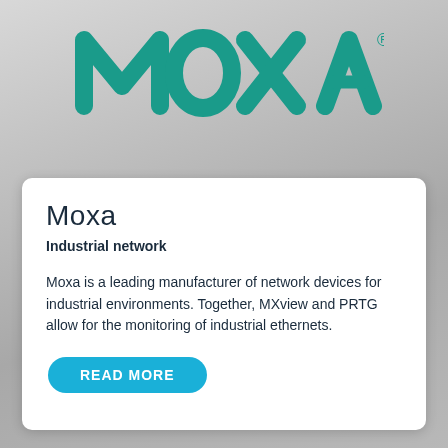[Figure (logo): MOXA logo in teal/green color with registered trademark symbol, displayed on a grey gradient background]
Moxa
Industrial network
Moxa is a leading manufacturer of network devices for industrial environments. Together, MXview and PRTG allow for the monitoring of industrial ethernets.
READ MORE